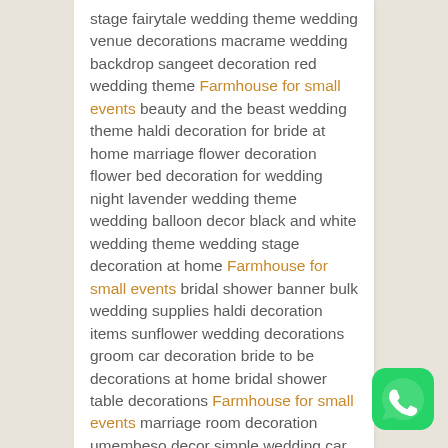stage fairytale wedding theme wedding venue decorations macrame wedding backdrop sangeet decoration red wedding theme Farmhouse for small events beauty and the beast wedding theme haldi decoration for bride at home marriage flower decoration flower bed decoration for wedding night lavender wedding theme wedding balloon decor black and white wedding theme wedding stage decoration at home Farmhouse for small events bridal shower banner bulk wedding supplies haldi decoration items sunflower wedding decorations groom car decoration bride to be decorations at home bridal shower table decorations Farmhouse for small events marriage room decoration umembeso decor simple wedding car decoration with flowers mandapam decoration black wedding theme wedding backdrop stage decoration wedding decoration
[Figure (logo): WhatsApp green rounded square icon with white phone handset]